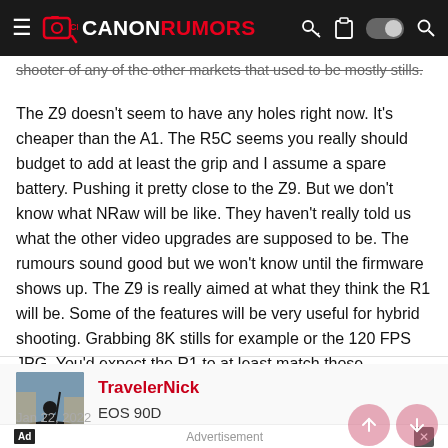Canon Rumors
shooter of any of the other markets that used to be mostly stills.
The Z9 doesn't seem to have any holes right now. It's cheaper than the A1. The R5C seems you really should budget to add at least the grip and I assume a spare battery. Pushing it pretty close to the Z9. But we don't know what NRaw will be like. They haven't really told us what the other video upgrades are supposed to be. The rumours sound good but we won't know until the firmware shows up. The Z9 is really aimed at what they think the R1 will be. Some of the features will be very useful for hybrid shooting. Grabbing 8K stills for example or the 120 FPS JPG. You'd expect the R1 to at least match those.
TravelerNick
EOS 90D
Advertisement
Jan 22, 2022